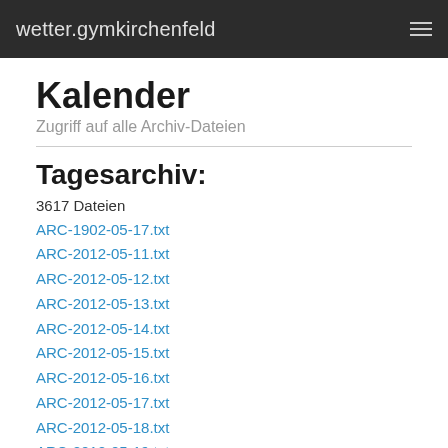wetter.gymkirchenfeld
Kalender
Zugriff auf alle Archiv-Dateien
Tagesarchiv:
3617 Dateien
ARC-1902-05-17.txt
ARC-2012-05-11.txt
ARC-2012-05-12.txt
ARC-2012-05-13.txt
ARC-2012-05-14.txt
ARC-2012-05-15.txt
ARC-2012-05-16.txt
ARC-2012-05-17.txt
ARC-2012-05-18.txt
ARC-2012-05-19.txt
ARC-2012-05-20.txt